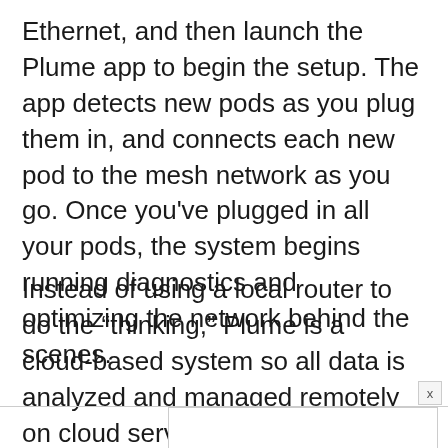Ethernet, and then launch the Plume app to begin the setup. The app detects new pods as you plug them in, and connects each new pod to the mesh network as you go. Once you've plugged in all your pods, the system begins running diagnostics and optimizing the network behind the scenes.
Instead of using a local router to do the “thinking,” Plume is a cloud-based system so all data is analyzed and managed remotely on cloud servers. No, that doesn’t mean the